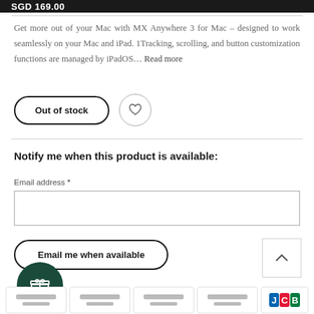SGD 169.00
Get more out of your Mac with MX Anywhere 3 for Mac – designed to work seamlessly on your Mac and iPad. 1Tracking, scrolling, and button customization functions are managed by iPadOS… Read more
Out of stock
Notify me when this product is available:
Email address *
Email me when available
[Figure (other): Gift icon circular button (dark green)]
[Figure (other): Payment method cards row including credit card placeholders and JCB logo card]